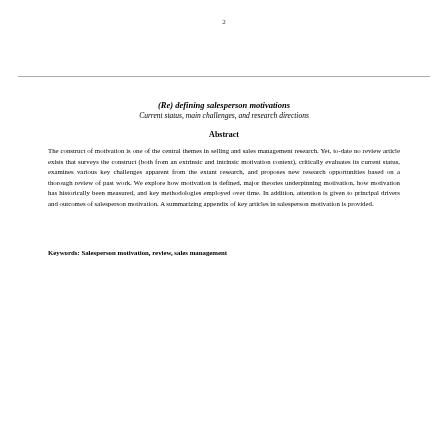2
(Re) defining salesperson motivations
Current status, main challenges, and research directions
Abstract
The construct of motivation is one of the central themes in selling and sales management research. Yet, to-date no review article exists that surveys the construct (both from an extrinsic and intrinsic motivation context), critically evaluates its current status, examines various key challenges apparent from the extant research, and proposes new research opportunities based on a thorough review of past work. We explore how motivation is defined, major theories underpinning motivation, how motivation has historically been measured, and key methodologies employed over time. In addition, attention is given to principal drivers and outcomes of salesperson motivation. A summarizing appendix of key articles in salesperson motivation is provided.
Keywords: Salesperson motivation, review, sales management